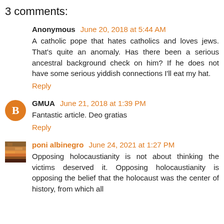3 comments:
Anonymous June 20, 2018 at 5:44 AM
A catholic pope that hates catholics and loves jews. That's quite an anomaly. Has there been a serious ancestral background check on him? If he does not have some serious yiddish connections I'll eat my hat.
Reply
GMUA June 21, 2018 at 1:39 PM
Fantastic article. Deo gratias
Reply
poni albinegro June 24, 2021 at 1:27 PM
Opposing holocaustianity is not about thinking the victims deserved it. Opposing holocaustianity is opposing the belief that the holocaust was the center of history, from which all